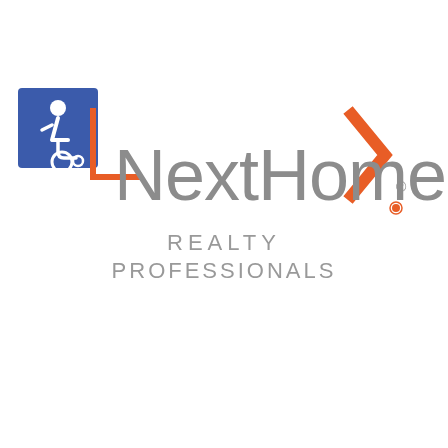[Figure (logo): NextHome Realty Professionals logo with orange bracket/arrow graphic elements and a blue wheelchair accessibility icon in the top-left corner]